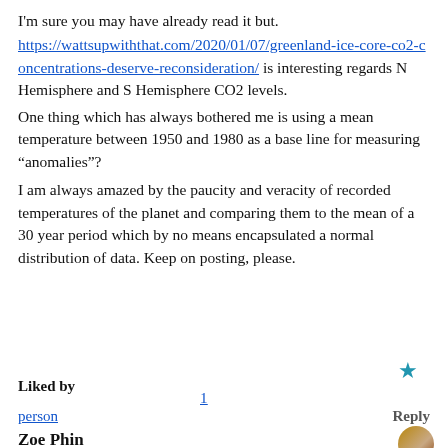I'm sure you may have already read it but.
https://wattsupwiththat.com/2020/01/07/greenland-ice-core-co2-concentrations-deserve-reconsideration/ is interesting regards N Hemisphere and S Hemisphere CO2 levels.
One thing which has always bothered me is using a mean temperature between 1950 and 1980 as a base line for measuring “anomalies”?
I am always amazed by the paucity and veracity of recorded temperatures of the planet and comparing them to the mean of a 30 year period which by no means encapsulated a normal distribution of data. Keep on posting, please.
Liked by
1
person
Reply
Zoe Phin